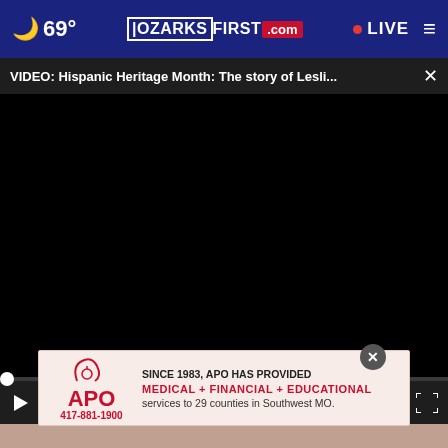69° OZARKSFIRST.com • LIVE
VIDEO: Hispanic Heritage Month: The story of Lesli... ×
[Figure (screenshot): Embedded video player showing a black screen with playback controls: play button, mute button, timestamp 00:00, captions button, and fullscreen button. A progress bar is at the top of the controls.]
[Figure (photo): Partial photo visible below video player showing a close-up of a person's face/mouth]
[Figure (other): Advertisement banner for APO: 'Since 1983, APO has provided MEDICAL + FINANCIAL + EDUCATIONAL services to 29 counties in Southwest MO.' Phone: 417-881-1900. With close (x) button.]